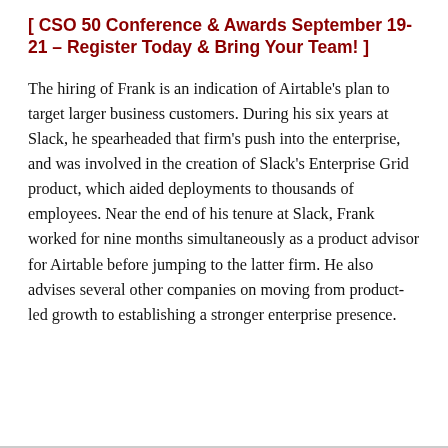[ CSO 50 Conference & Awards September 19-21 – Register Today & Bring Your Team! ]
The hiring of Frank is an indication of Airtable's plan to target larger business customers. During his six years at Slack, he spearheaded that firm's push into the enterprise, and was involved in the creation of Slack's Enterprise Grid product, which aided deployments to thousands of employees. Near the end of his tenure at Slack, Frank worked for nine months simultaneously as a product advisor for Airtable before jumping to the latter firm. He also advises several other companies on moving from product-led growth to establishing a stronger enterprise presence.